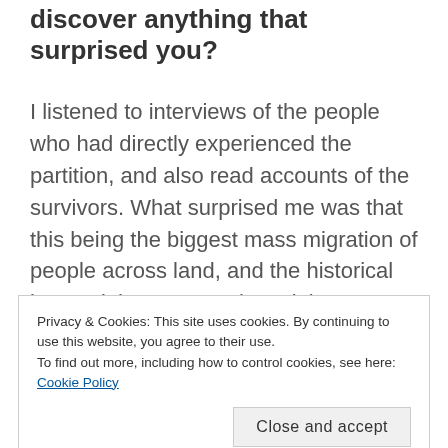discover anything that surprised you?
I listened to interviews of the people who had directly experienced the partition, and also read accounts of the survivors. What surprised me was that this being the biggest mass migration of people across land, and the historical impact it has even today – it is not spoken about or even taught in the curriculum in both the UK and India. I read The Other Side of Silence: Voices from the
Privacy & Cookies: This site uses cookies. By continuing to use this website, you agree to their use.
To find out more, including how to control cookies, see here: Cookie Policy
Close and accept
historical period, when and where would it